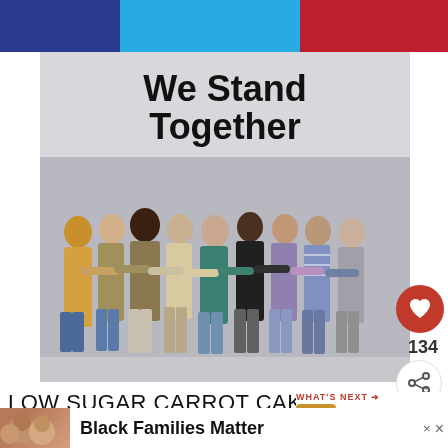[Figure (photo): Top color bars: dark blue, light blue, red]
[Figure (photo): Photo of diverse group of people standing with arms around each other, with text 'We Stand Together' on the wall behind them]
134
LOW SUGAR CARROT CAKE JAM
[Figure (photo): WHAT'S NEXT arrow label with thumbnail of carrot cake cookies and text 'Carrot Cake Cookies']
[Figure (photo): Bottom banner showing smiling people photo with text 'Black Families Matter' and close buttons]